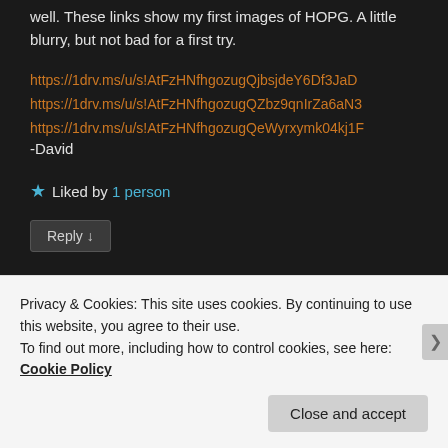well. These links show my first images of HOPG. A little blurry, but not bad for a first try.
https://1drv.ms/u/s!AtFzHNfhgozugQjbsjdeY6Df3JaD
https://1drv.ms/u/s!AtFzHNfhgozugQZbz9qnIrZa6aN3
https://1drv.ms/u/s!AtFzHNfhgozugQeWyrxymk04kj1F
-David
★ Liked by 1 person
Reply ↓
Dan Berard
Privacy & Cookies: This site uses cookies. By continuing to use this website, you agree to their use.
To find out more, including how to control cookies, see here: Cookie Policy
Close and accept